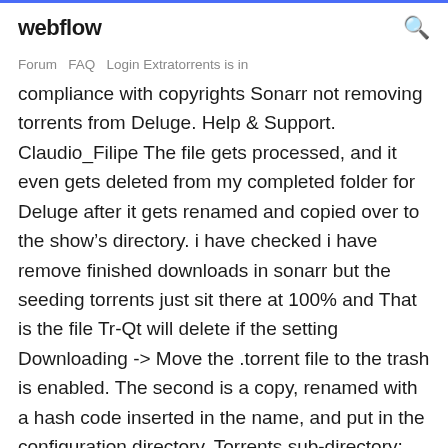webflow
Forum   FAQ   Login Extratorrents is in compliance with copyrights Sonarr not removing torrents from Deluge. Help & Support. Claudio_Filipe The file gets processed, and it even gets deleted from my completed folder for Deluge after it gets renamed and copied over to the show's directory. i have checked i have remove finished downloads in sonarr but the seeding torrents just sit there at 100% and That is the file Tr-Qt will delete if the setting Downloading -> Move the .torrent file to the trash is enabled. The second is a copy, renamed with a hash code inserted in the name, and put in the configuration directory, Torrents sub-directory;